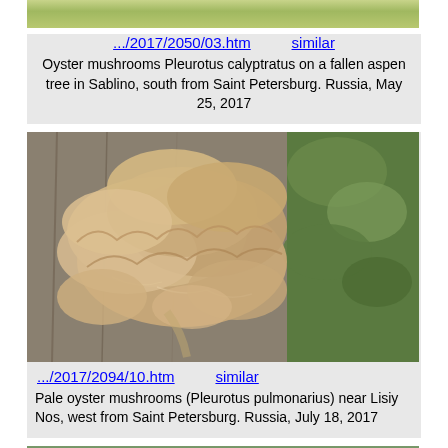[Figure (photo): Partial view of oyster mushrooms on a fallen aspen tree, top of image visible]
.../2017/2050/03.htm    similar
Oyster mushrooms Pleurotus calyptratus on a fallen aspen tree in Sablino, south from Saint Petersburg. Russia, May 25, 2017
[Figure (photo): Pale oyster mushrooms (Pleurotus pulmonarius) growing on a tree trunk, large cluster of beige fan-shaped caps against bark with green foliage]
.../2017/2094/10.htm    similar
Pale oyster mushrooms (Pleurotus pulmonarius) near Lisiy Nos, west from Saint Petersburg. Russia, July 18, 2017
[Figure (photo): Partial view of another mushroom photo at bottom of page]